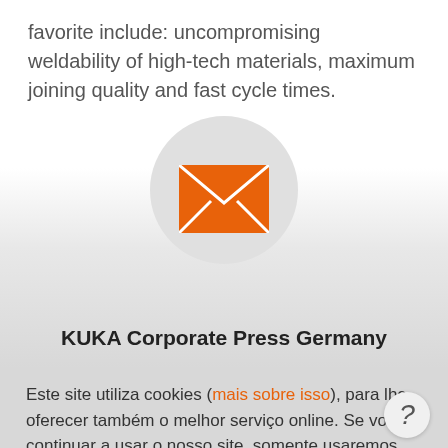favorite include: uncompromising weldability of high-tech materials, maximum joining quality and fast cycle times.
[Figure (illustration): Orange envelope icon on a light gray circular background, centered on a gradient gray banner section]
KUKA Corporate Press Germany
Este site utiliza cookies (mais sobre isso), para lhe oferecer também o melhor serviço online. Se você continuar a usar o nosso site, somente usaremos cookies tecnicamente necessários. Se você clicar em